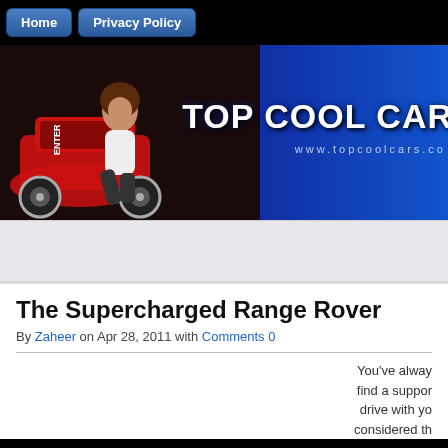Home | Privacy Policy
[Figure (illustration): Website banner for Top Cool Cars showing a woman leaning against a red sports car on the left, blue gradient background on the right with bold text 'TOP COOL CARS' and URL 'www.topcoolcars.co']
[Figure (other): Advertisement strip / banner ad area]
The Supercharged Range Rover
By Zaheer on Apr 28, 2011 with Comments 0
You've always find a support drive with you considered th